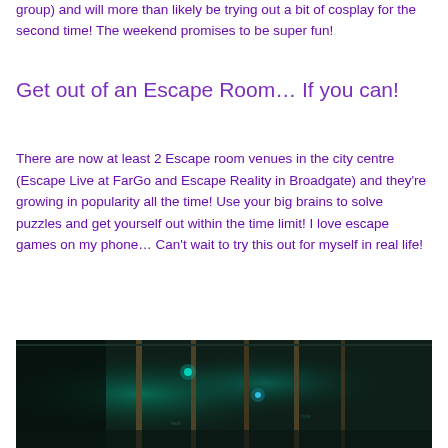group) and will more than likely be trying out a bit of cosplay for the second time! The weekend promises to be super fun!
Get out of an Escape Room… If you can!
There are now at least 2 Escape room venues in the city centre (Escape Live at FarGo and Escape Reality in Broadgate) and they're growing in popularity all the time! Use your big brains to solve puzzles and get yourself out within the time limit! I love escape games on my phone… Can't wait to try this out for myself in real life!
[Figure (photo): Dark interior photo of an escape room showing vertical bars or pillars, green/teal ambient lighting, and text written on surfaces in a dimly lit room.]